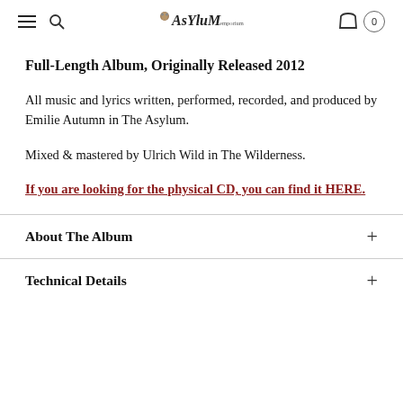Asylum Emporium — navigation header with logo, hamburger menu, search, and cart
Full-Length Album, Originally Released 2012
All music and lyrics written, performed, recorded, and produced by Emilie Autumn in The Asylum.
Mixed & mastered by Ulrich Wild in The Wilderness.
If you are looking for the physical CD, you can find it HERE.
About The Album
Technical Details